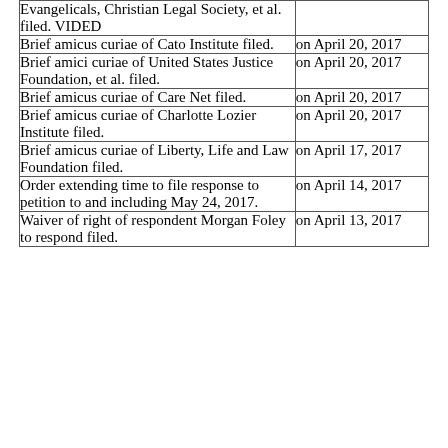| Description | Date |
| --- | --- |
| Evangelicals, Christian Legal Society, et al. filed. VIDED |  |
| Brief amicus curiae of Cato Institute filed. | on April 20, 2017 |
| Brief amici curiae of United States Justice Foundation, et al. filed. | on April 20, 2017 |
| Brief amicus curiae of Care Net filed. | on April 20, 2017 |
| Brief amicus curiae of Charlotte Lozier Institute filed. | on April 20, 2017 |
| Brief amicus curiae of Liberty, Life and Law Foundation filed. | on April 17, 2017 |
| Order extending time to file response to petition to and including May 24, 2017. | on April 14, 2017 |
| Waiver of right of respondent Morgan Foley to respond filed. | on April 13, 2017 |